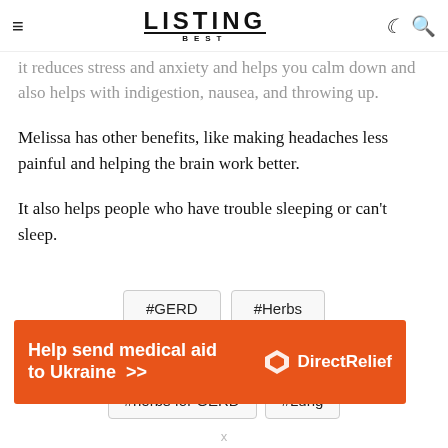≡  LISTING BEST  ☾ 🔍
it reduces stress and anxiety and helps you calm down and also helps with indigestion, nausea, and throwing up.
Melissa has other benefits, like making headaches less painful and helping the brain work better.
It also helps people who have trouble sleeping or can't sleep.
#GERD
#Herbs
#Herbs for gastroesophageal reflux disease
#herbs for GERD
#Lung
[Figure (other): Advertisement banner: orange background, text 'Help send medical aid to Ukraine >>' with Direct Relief logo on the right]
x